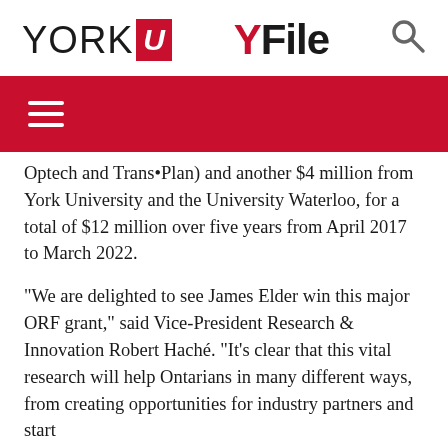YORK U  YFile
Optech and Trans•Plan) and another $4 million from York University and the University Waterloo, for a total of $12 million over five years from April 2017 to March 2022.
“We are delighted to see James Elder win this major ORF grant,” said Vice-President Research & Innovation Robert Haché. “It’s clear that this vital research will help Ontarians in many different ways, from creating opportunities for industry partners and start